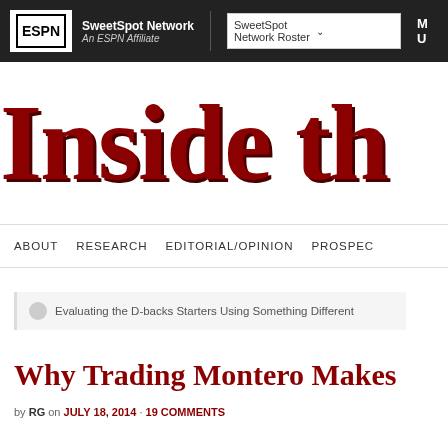ESPN | SweetSpot Network An ESPN Affiliate | SweetSpot Network Roster | MU
Inside th
ABOUT   RESEARCH   EDITORIAL/OPINION   PROSPEC
Evaluating the D-backs Starters Using Something Different
Why Trading Montero Makes
by RG on JULY 18, 2014 · 19 COMMENTS